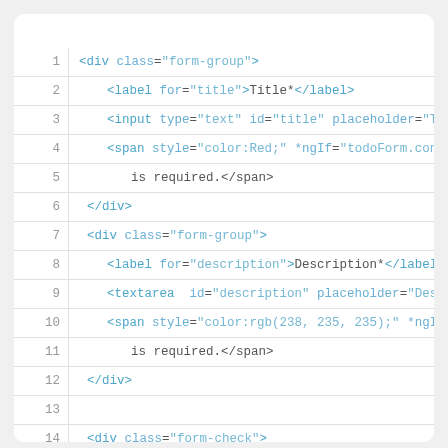[Figure (screenshot): Code editor screenshot showing HTML template code with line numbers 1-15. Lines show form-group div elements with label, input, span and textarea tags.]